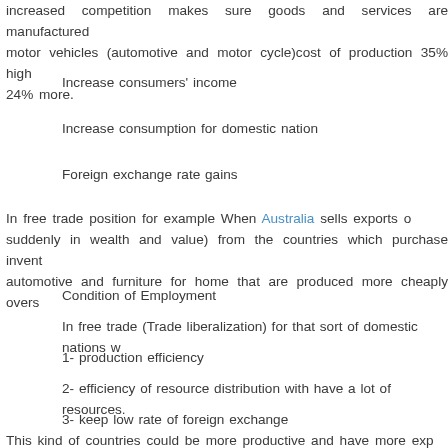increased competition makes sure goods and services are manufactured motor vehicles (automotive and motor cycle)cost of production 35% high 24% more.
Increase consumers' income
Increase consumption for domestic nation
Foreign exchange rate gains
In free trade position for example When Australia sells exports o suddenly in wealth and value) from the countries which purchase invent automotive and furniture for home that are produced more cheaply overs
Condition of Employment
In free trade (Trade liberalization) for that sort of domestic nations w
1- production efficiency
2- efficiency of resource distribution with have a lot of resources.
3- keep low rate of foreign exchange
This kind of countries could be more productive and have more exp